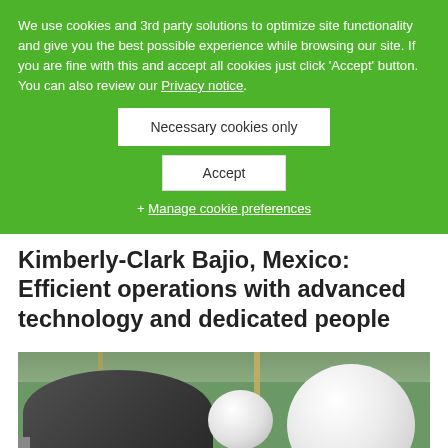We use cookies and 3rd party solutions to optimize site functionality and give you the best possible experience while browsing our site. If you are fine with this and accept all cookies just click 'Accept' button. You can also review our Privacy notice.
Necessary cookies only
Accept
+ Manage cookie preferences
Kimberly-Clark Bajio, Mexico: Efficient operations with advanced technology and dedicated people
[Figure (photo): Industrial paper mill factory interior showing large white paper rolls on machinery with metal structures and green-tinted lighting]